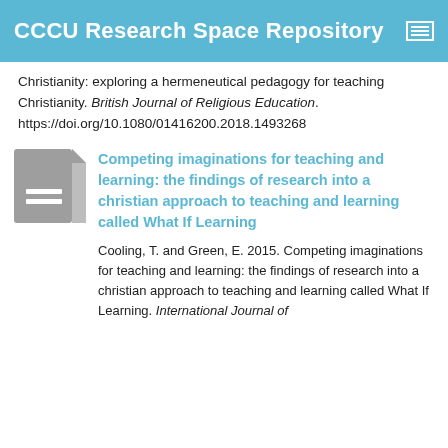CCCU Research Space Repository
Christianity: exploring a hermeneutical pedagogy for teaching Christianity. British Journal of Religious Education. https://doi.org/10.1080/01416200.2018.1493268
[Figure (illustration): Gray document icon with two white horizontal lines representing a text document]
Competing imaginations for teaching and learning: the findings of research into a christian approach to teaching and learning called What If Learning
Cooling, T. and Green, E. 2015. Competing imaginations for teaching and learning: the findings of research into a christian approach to teaching and learning called What If Learning. International Journal of Christianity & Education. 19 (2). p. 96